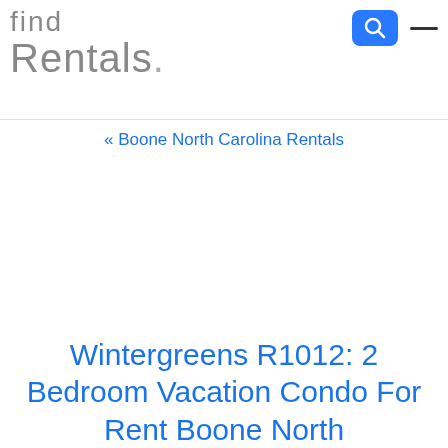Find Rentals.
« Boone North Carolina Rentals
Wintergreens R1012: 2 Bedroom Vacation Condo For Rent Boone North Carolina